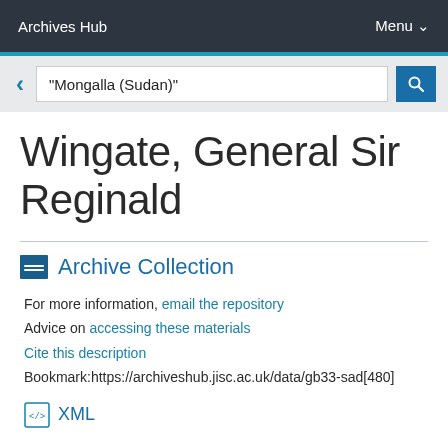Archives Hub   Menu
"Mongalla (Sudan)"
Wingate, General Sir Reginald
Archive Collection
For more information, email the repository
Advice on accessing these materials
Cite this description
Bookmark:https://archiveshub.jisc.ac.uk/data/gb33-sad[480]
XML